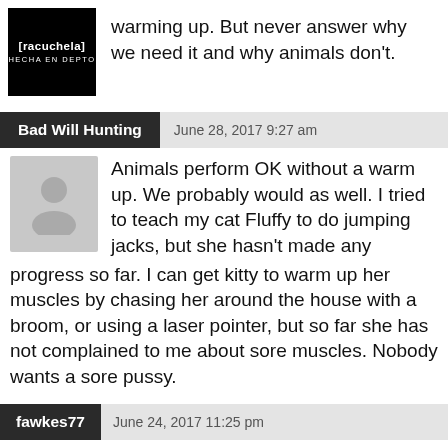[Figure (other): User avatar for racuchela: black square with text '[racuchela]' and 'HECHA EN DEPTO']
warming up. But never answer why we need it and why animals don't.
Bad Will Hunting   June 28, 2017 9:27 am
[Figure (other): Generic user avatar placeholder: gray square with silhouette person icon]
Animals perform OK without a warm up. We probably would as well. I tried to teach my cat Fluffy to do jumping jacks, but she hasn't made any progress so far. I can get kitty to warm up her muscles by chasing her around the house with a broom, or using a laser pointer, but so far she has not complained to me about sore muscles. Nobody wants a sore pussy.
fawkes77   June 24, 2017 11:25 pm
It had to happen sometime, and also it